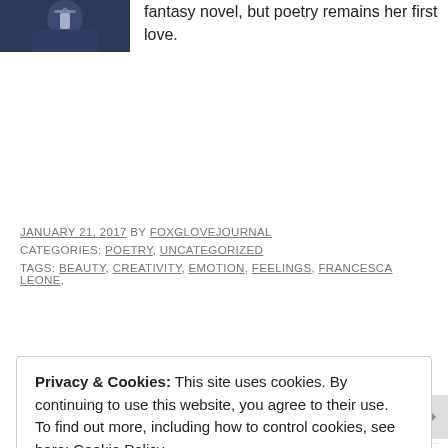[Figure (photo): Partial photo of a person wearing a lanyard/badge, dark bluish tones, cropped at top]
fantasy novel, but poetry remains her first love.
JANUARY 21, 2017 BY FOXGLOVEJOURNAL
CATEGORIES: POETRY, UNCATEGORIZED
TAGS: BEAUTY, CREATIVITY, EMOTION, FEELINGS, FRANCESCA LEONE,
Privacy & Cookies: This site uses cookies. By continuing to use this website, you agree to their use.
To find out more, including how to control cookies, see here: Cookie Policy
Close and accept